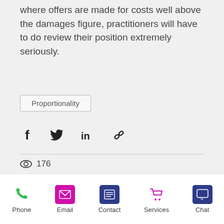where offers are made for costs well above the damages figure, practitioners will have to do review their position extremely seriously.
Proportionality
[Figure (infographic): Social share icons: Facebook (f), Twitter bird, LinkedIn (in), link/chain icon]
176
Recent Posts
See All
[Figure (photo): Partial image strip showing a blue sky with tower/structure, with grey images on left and right sides]
[Figure (infographic): Bottom navigation bar with icons: Phone (green), Email (magenta), Contact (dark blue), Services (magenta cart), Chat (dark blue speech bubble)]